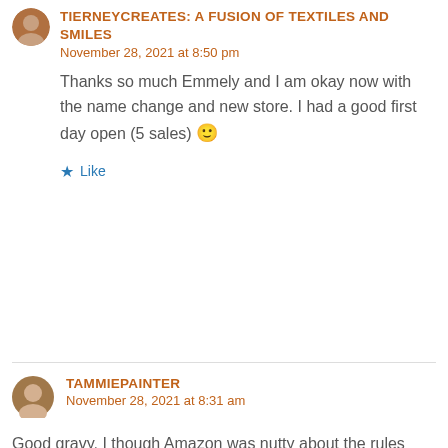TIERNEYCREATES: A FUSION OF TEXTILES AND SMILES
November 28, 2021 at 8:50 pm
Thanks so much Emmely and I am okay now with the name change and new store. I had a good first day open (5 sales) 🙂
Like
TAMMIEPAINTER
November 28, 2021 at 8:31 am
Good gravy, I though Amazon was nutty about the rules they put on their sellers' (and authors') accounts. I got frustrated with Etsy many many years ago (as a